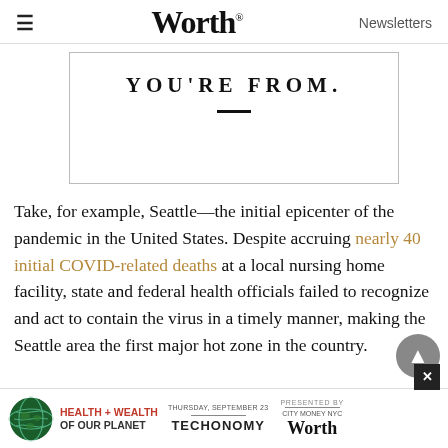Worth — Newsletters
[Figure (other): Bordered box with large uppercase serif text 'YOU'RE FROM.' and a short horizontal dash below]
Take, for example, Seattle—the initial epicenter of the pandemic in the United States. Despite accruing nearly 40 initial COVID-related deaths at a local nursing home facility, state and federal health officials failed to recognize and act to contain the virus in a timely manner, making the Seattle area the first major hot zone in the country.
[Figure (infographic): Health + Wealth of Our Planet event ad banner with globe logo, Techonomy and Worth branding, presented by section, date Thursday September 23, and city mention]